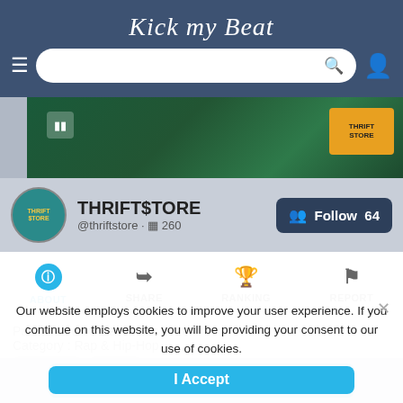Kick my Beat
[Figure (screenshot): Banner image with green background and pause button, thrift store logo top right]
THRIFT$TORE @thriftstore · 260 Follow 64
ABOUT SHARE RANKING REPORT
Our website employs cookies to improve your user experience. If you continue on this website, you will be providing your consent to our use of cookies.
I Accept
Published on 5 December 2020
Category : Rap & Hip-Hop
BPM: 167   Key: B
Find out more